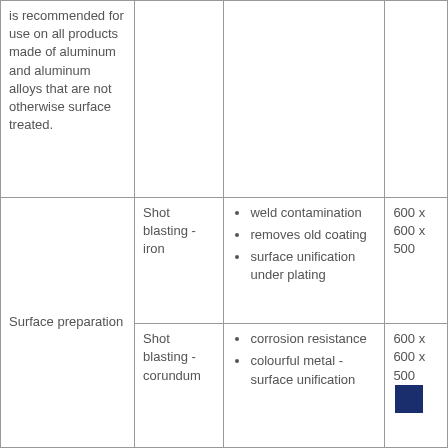|  |  |  |  |
| --- | --- | --- | --- |
| is recommended for use on all products made of aluminum and aluminum alloys that are not otherwise surface treated. |  |  |  |
| Surface preparation | Shot blasting - iron | weld contamination
removes old coating
surface unification under plating | 600 x 600 x 500 |
| Surface preparation | Shot blasting - corundum | corrosion resistance
colourful metal - surface unification | 600 x 600 x 500 |